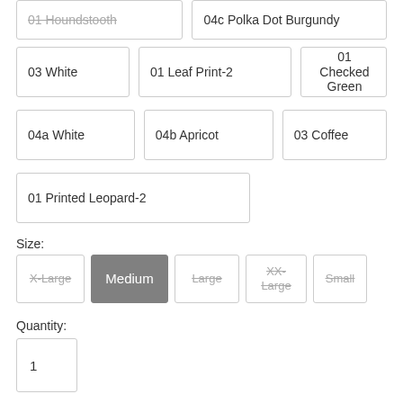01 Houndstooth
04c Polka Dot Burgundy
03 White
01 Leaf Print-2
01 Checked Green
04a White
04b Apricot
03 Coffee
01 Printed Leopard-2
Size:
X-Large
Medium
Large
XX-Large
Small
Quantity:
1